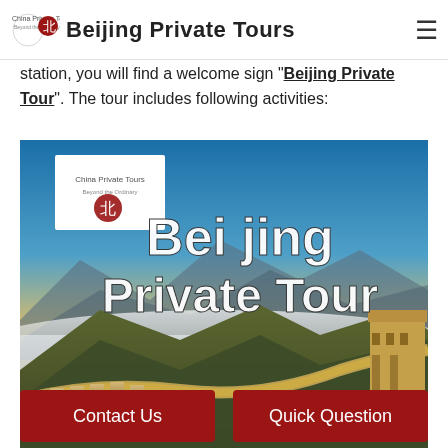Beijing Private Tours
station, you will find a welcome sign "Beijing Private Tour". The tour includes following activities:
[Figure (photo): Promotional banner image of the Great Wall of China with misty mountains and the text 'Bei jing Private Tour' overlaid in large white bold font, and the China Private Tours logo in a white box in the upper left.]
Contact Us
Quick Question